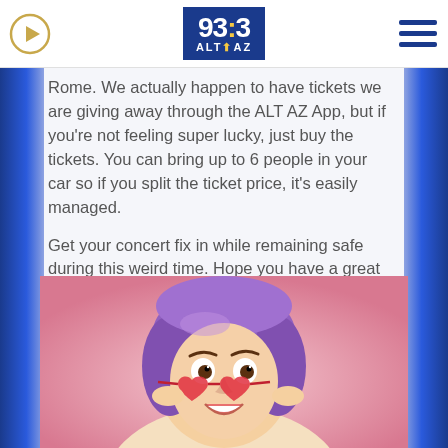93.3 ALT AZ
Rome. We actually happen to have tickets we are giving away through the ALT AZ App, but if you're not feeling super lucky, just buy the tickets. You can bring up to 6 people in your car so if you split the ticket price, it's easily managed.
Get your concert fix in while remaining safe during this weird time. Hope you have a great experience just like I did!
[Figure (photo): Woman with purple hair looking over red heart-shaped sunglasses against a pink background, making a surprised/excited expression]